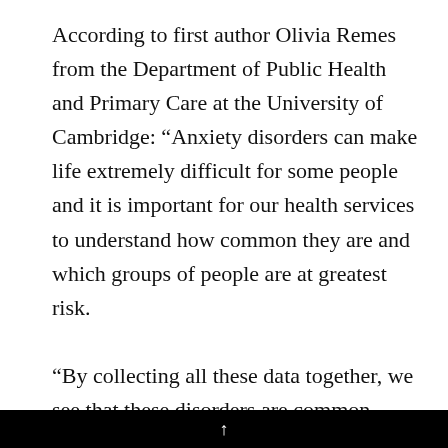According to first author Olivia Remes from the Department of Public Health and Primary Care at the University of Cambridge: “Anxiety disorders can make life extremely difficult for some people and it is important for our health services to understand how common they are and which groups of people are at greatest risk.

“By collecting all these data together, we see that these disorders are common across all groups, but women and young people are disproportionately affected, the research…
↑